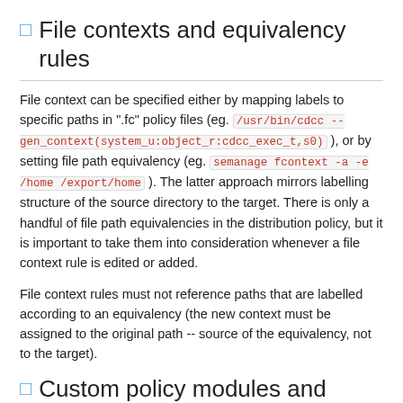File contexts and equivalency rules
File context can be specified either by mapping labels to specific paths in ".fc" policy files (eg. /usr/bin/cdcc --gen_context(system_u:object_r:cdcc_exec_t,s0) ), or by setting file path equivalency (eg. semanage fcontext -a -e /home /export/home ). The latter approach mirrors labelling structure of the source directory to the target. There is only a handful of file path equivalencies in the distribution policy, but it is important to take them into consideration whenever a file context rule is edited or added.
File context rules must not reference paths that are labelled according to an equivalency (the new context must be assigned to the original path -- source of the equivalency, not to the target).
Custom policy modules and distribution policy